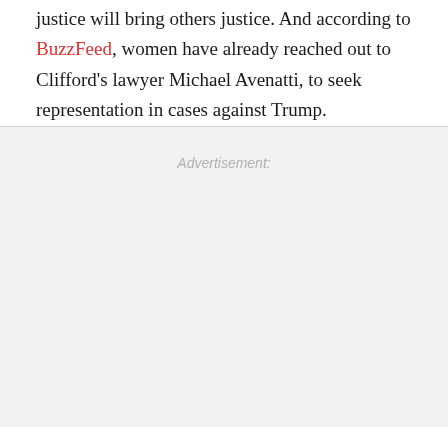justice will bring others justice. And according to BuzzFeed, women have already reached out to Clifford's lawyer Michael Avenatti, to seek representation in cases against Trump.
Advertisement: